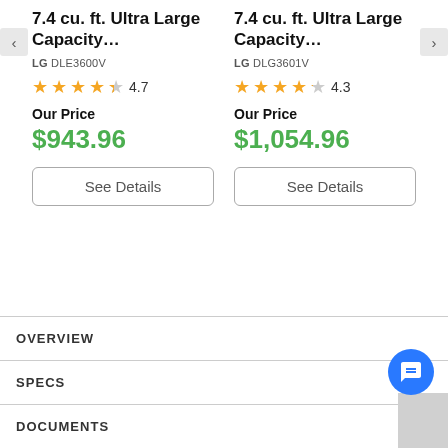7.4 cu. ft. Ultra Large Capacity... LG DLE3600V ★★★★☆ 4.7 Our Price $943.96
7.4 cu. ft. Ultra Large Capacity... LG DLG3601V ★★★★☆ 4.3 Our Price $1,054.96
See Details
See Details
OVERVIEW
SPECS
DOCUMENTS